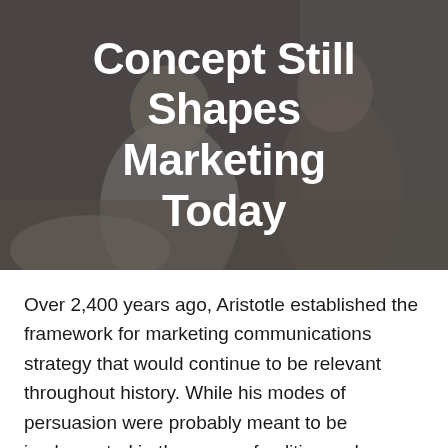[Figure (photo): Dark-tinted background photo of people in a business meeting / office setting, with two people visible, one in a white shirt. Overlaid with a semi-transparent dark overlay.]
Concept Still Shapes Marketing Today
Over 2,400 years ago, Aristotle established the framework for marketing communications strategy that would continue to be relevant throughout history. While his modes of persuasion were probably meant to be implemented in the areas of politics and literature, a good marketer knows a great idea